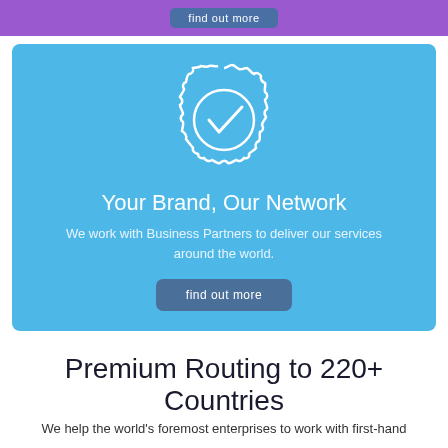[Figure (other): Purple top bar with a 'find out more' button]
[Figure (illustration): Light blue card with a badge/seal icon (white outline circle with wavy edge and checkmark), title 'Your Brand, Our Network', descriptive text, and a 'find out more' button]
Premium Routing to 220+ Countries
We help the world's foremost enterprises to work with first-hand